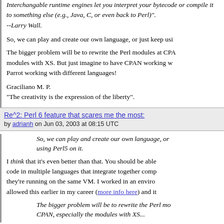Interchangable runtime engines let you interpret your bytecode or compile it to something else (e.g., Java, C, or even back to Perl)". --Larry Wall.
So, we can play and create our own language, or just keep using Perl5 on it.
The bigger problem will be to rewrite the Perl modules at CPAN, especially the modules with XS. But just imagine to have CPAN working w... Parrot working with different languages!
Graciliano M. P.
"The creativity is the expression of the liberty".
Re^2: Perl 6 feature that scares me the most:
by adrianh on Jun 03, 2003 at 08:15 UTC
So, we can play and create our own language, or just keep using Perl5 on it.
I think that it's even better than that. You should be able to write code in multiple languages that integrate together completely if they're running on the same VM. I worked in an environment that allowed this earlier in my career (more info here) and it...
The bigger problem will be to rewrite the Perl mo... CPAN, especially the modules with XS...